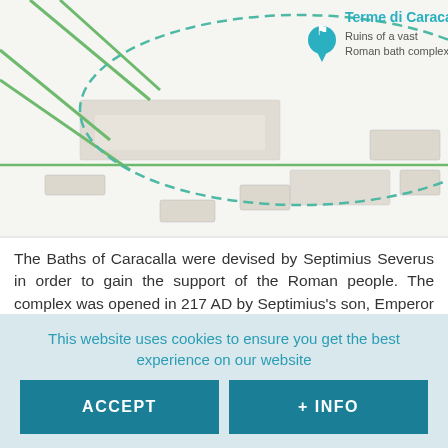[Figure (map): Google Maps screenshot showing the location of Terme di Caracalla (Ruins of a vast Roman bath complex) with road overlay, dashed green boundary outline, and street labels including Via Antoniniana.]
The Baths of Caracalla were devised by Septimius Severus in order to gain the support of the Roman people. The complex was opened in 217 AD by Septimius's son, Emperor Caracalla.
These baths functioned for almost 300 years and there was room for as many as 1,600 bathers. It stopped operating in the 6th century, when the Visigoths destroyed its channelling system and the water stopped reaching the baths.
This website uses cookies to ensure you get the best experience on our website
ACCEPT
+ INFO